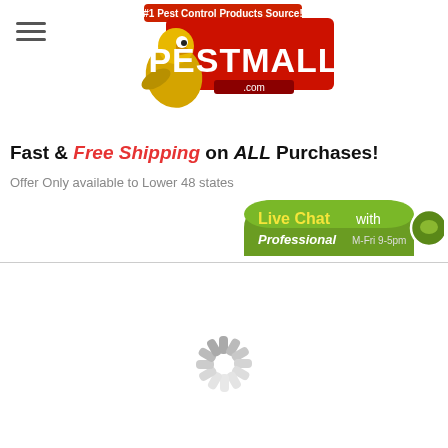[Figure (logo): PestMall.com logo with bird mascot and red banner. Text reads '#1 Pest Control Products Source!' above the logo.]
Fast & Free Shipping on ALL Purchases!
Offer Only available to Lower 48 states
[Figure (infographic): Live Chat with Professional M-Fri 9-5pm green rounded banner button with chat bubble icon]
[Figure (other): Loading spinner (circular grey activity indicator) in the center of the white lower page area]